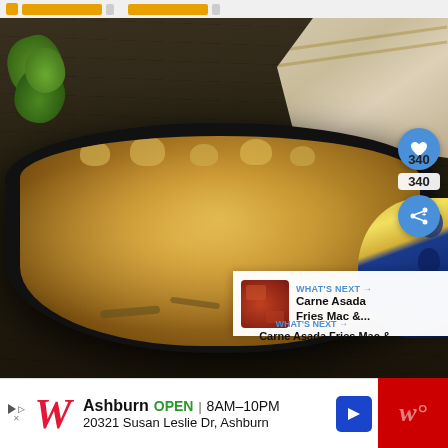[Figure (photo): Screenshot of a recipe webpage showing a baked mac and cheese in a cast iron skillet with golden breadcrumb topping, green herbs, a linen napkin, and UI overlays including a heart button (340 saves), share button, and 'What's Next: Carne Asada Fries Mac &...' panel]
340
WHAT'S NEXT →
Carne Asada Fries Mac &...
[Figure (other): Walgreens advertisement banner: Ashburn OPEN 8AM–10PM, 20321 Susan Leslie Dr, Ashburn]